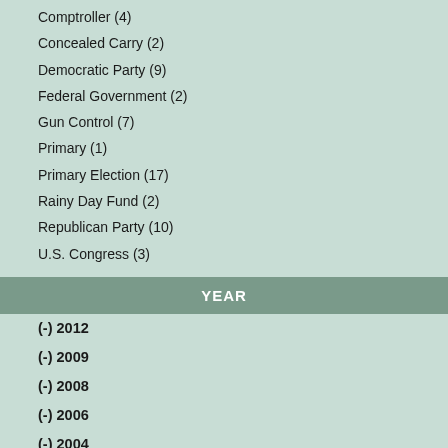Comptroller (4)
Concealed Carry (2)
Democratic Party (9)
Federal Government (2)
Gun Control (7)
Primary (1)
Primary Election (17)
Rainy Day Fund (2)
Republican Party (10)
U.S. Congress (3)
YEAR
(-) 2012
(-) 2009
(-) 2008
(-) 2006
(-) 2004
(-) 2000
(-) 1975